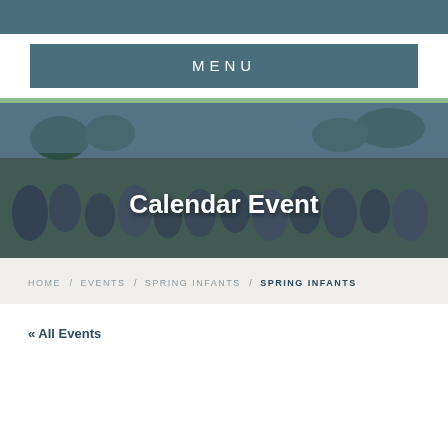MENU
[Figure (photo): Outdoor community event with crowd of people sitting on grass and chairs at a park, with trees and parking lot in background. Overlaid with 'Calendar Event' title text.]
Calendar Event
HOME / EVENTS / SPRING INFANTS / SPRING INFANTS
« All Events